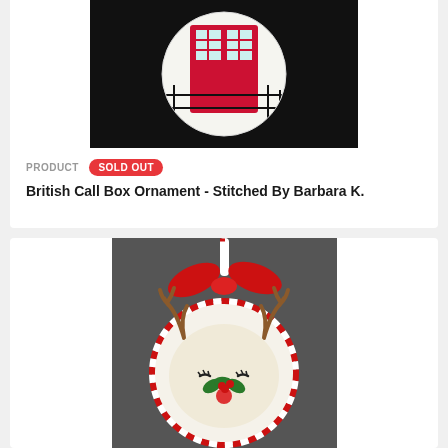[Figure (photo): Needlepoint ornament of a British phone box (red call box) on a black circular ornament, displayed against dark background]
PRODUCT  SOLD OUT
British Call Box Ornament - Stitched By Barbara K.
[Figure (photo): Needlepoint ornament of a reindeer face with antlers, holly, and a red bow hanging from a candy cane striped cord, on a grey background]